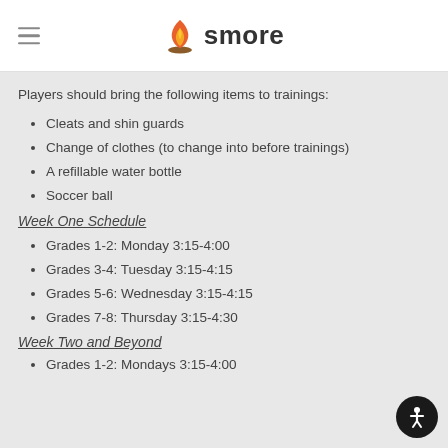smore
Players should bring the following items to trainings:
Cleats and shin guards
Change of clothes (to change into before trainings)
A refillable water bottle
Soccer ball
Week One Schedule
Grades 1-2: Monday 3:15-4:00
Grades 3-4: Tuesday 3:15-4:15
Grades 5-6: Wednesday 3:15-4:15
Grades 7-8: Thursday 3:15-4:30
Week Two and Beyond
Grades 1-2: Mondays 3:15-4:00